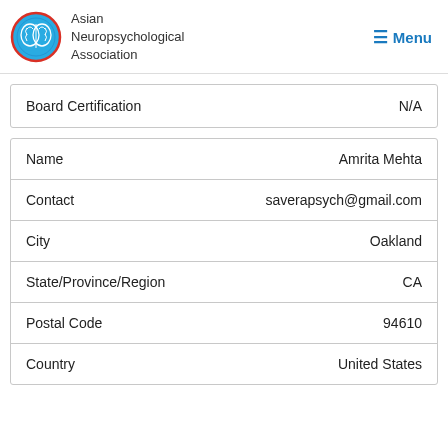Asian Neuropsychological Association | Menu
| Board Certification | N/A |
| --- | --- |
| Board Certification | N/A |
| Field | Value |
| --- | --- |
| Name | Amrita Mehta |
| Contact | saverapsych@gmail.com |
| City | Oakland |
| State/Province/Region | CA |
| Postal Code | 94610 |
| Country | United States |